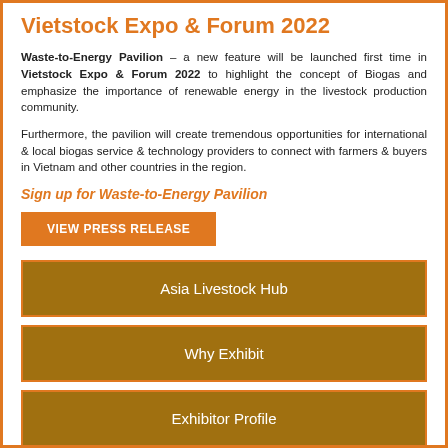Vietstock Expo & Forum 2022
Waste-to-Energy Pavilion – a new feature will be launched first time in Vietstock Expo & Forum 2022 to highlight the concept of Biogas and emphasize the importance of renewable energy in the livestock production community.
Furthermore, the pavilion will create tremendous opportunities for international & local biogas service & technology providers to connect with farmers & buyers in Vietnam and other countries in the region.
Sign up for Waste-to-Energy Pavilion
VIEW PRESS RELEASE
Asia Livestock Hub
Why Exhibit
Exhibitor Profile